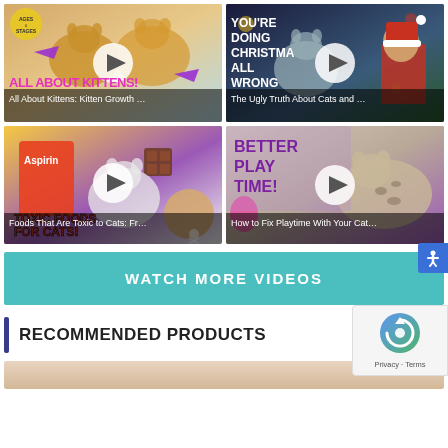[Figure (screenshot): Video thumbnail grid with 4 video thumbnails: 1) 'All About Kittens: Kitten Growth...' with kittens photo, 2) 'The Ugly Truth About Cats and...' with Christmas cat photo, 3) 'Foods That Are Toxic to Cats: Fr...' with toxic foods graphic, 4) 'How to Fix Playtime With Your Cat...' with cat play photo. Each has a white play button overlay.]
WATCH MORE VIDEOS
RECOMMENDED PRODUCTS